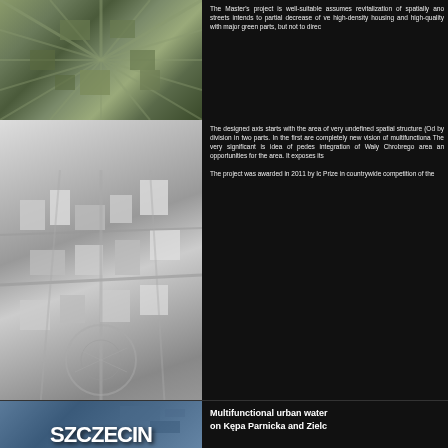[Figure (photo): Aerial satellite view of city district with radial street pattern and dense urban blocks]
The Master's project is well-suitable assumes revitalization of spatially ano streets intends to partial decrease of ve high-density housing and high-quality with major green parts, but not to direc
[Figure (photo): Architectural 3D scale model of urban development plan showing buildings and street layout in white/grey tones]
The designed axis starts with the area of very undefined spatial structure (Od by division in two parts. In the first are completely new vision of multifunctiona The very significant is idea of pedes integration of Wały Chrobrego area an opportunities for the area. It exposes its The project was awarded in 2011 by Ic Prize in countrywide competition of the
See all project's boards >>>
See selected pictures >>>
See project's catalogue >>>
See the study area at Google Maps >>>
[Figure (photo): Aerial photo of Szczecin waterfront area with SZCZECIN logo overlay]
Multifunctional urban water on Kępa Parnicka and Zielc